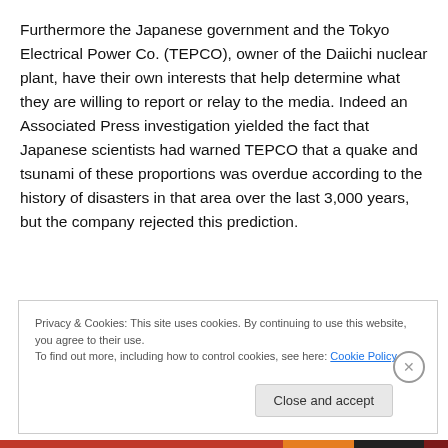Furthermore the Japanese government and the Tokyo Electrical Power Co. (TEPCO), owner of the Daiichi nuclear plant, have their own interests that help determine what they are willing to report or relay to the media. Indeed an Associated Press investigation yielded the fact that Japanese scientists had warned TEPCO that a quake and tsunami of these proportions was overdue according to the history of disasters in that area over the last 3,000 years, but the company rejected this prediction.
Privacy & Cookies: This site uses cookies. By continuing to use this website, you agree to their use.
To find out more, including how to control cookies, see here: Cookie Policy